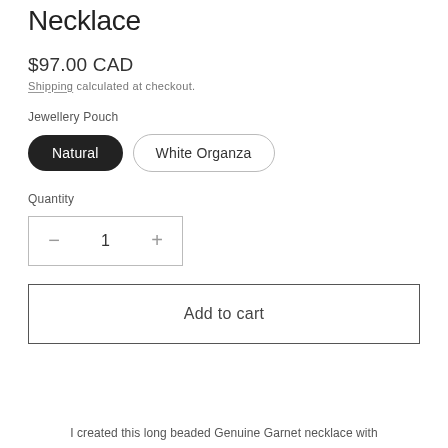Necklace
$97.00 CAD
Shipping calculated at checkout.
Jewellery Pouch
Natural | White Organza
Quantity
1
Add to cart
I created this long beaded Genuine Garnet necklace with